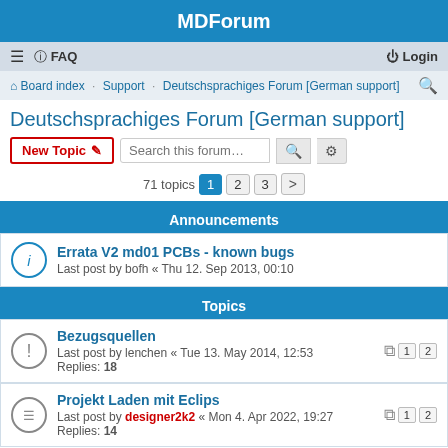MDForum
≡  FAQ  Login
Board index · Support · Deutschsprachiges Forum [German support]
Deutschsprachiges Forum [German support]
New Topic  Search this forum…  71 topics  1 2 3 >
Announcements
Errata V2 md01 PCBs - known bugs
Last post by bofh « Thu 12. Sep 2013, 00:10
Topics
Bezugsquellen
Last post by lenchen « Tue 13. May 2014, 12:53
Replies: 18
Projekt Laden mit Eclips
Last post by designer2k2 « Mon 4. Apr 2022, 19:27
Replies: 14